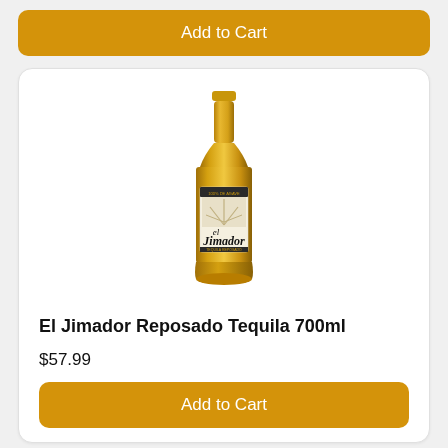[Figure (other): Add to Cart button (amber/orange rounded rectangle) at top of page]
[Figure (photo): El Jimador Reposado Tequila 700ml bottle — amber/gold glass bottle with white label showing 'el Jimador' branding and agave plant illustration]
El Jimador Reposado Tequila 700ml
$57.99
[Figure (other): Add to Cart button (amber/orange rounded rectangle) at bottom of card]